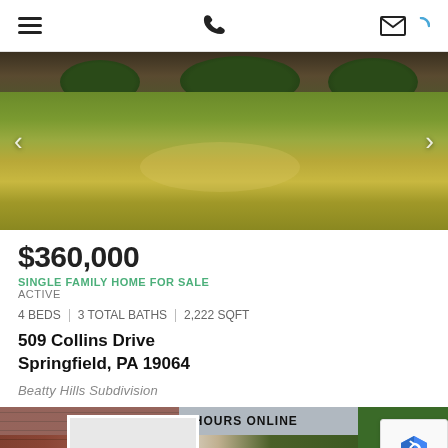Navigation header with hamburger menu, phone icon, and mail icon
[Figure (photo): Exterior photo of a single-family home with a large front lawn. Brick house visible in background with shrubs and trees. Lawn area in foreground. Navigation arrows on left and right sides.]
$360,000
SINGLE FAMILY HOME FOR SALE
ACTIVE
4 BEDS | 3 TOTAL BATHS | 2,222 SQFT
509 Collins Drive
Springfield, PA 19064
Beatty Hills Subdivision
NEW LISTING - 9 HOURS ONLINE
[Figure (photo): Bottom strip showing another exterior photo of the property — brick facade with white trim windows and a partial view of a green structure.]